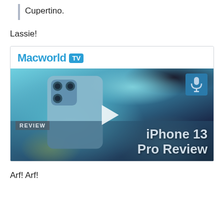Cupertino.
Lassie!
[Figure (screenshot): Macworld TV video player showing iPhone 13 Pro Review thumbnail with play button overlay]
Arf! Arf!